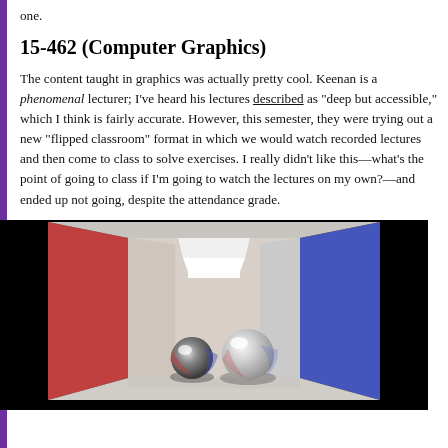one.
15-462 (Computer Graphics)
The content taught in graphics was actually pretty cool. Keenan is a phenomenal lecturer; I've heard his lectures described as "deep but accessible," which I think is fairly accurate. However, this semester, they were trying out a new "flipped classroom" format in which we would watch recorded lectures and then come to class to solve exercises. I really didn't like this—what's the point of going to class if I'm going to watch the lectures on my own?—and ended up not going, despite the attendance grade.
[Figure (photo): A computer-rendered Cornell Box scene with red left wall, blue right wall, white ceiling with a rectangular light source, and two spheres on the floor — one metallic/mirror sphere and one white/glass sphere.]